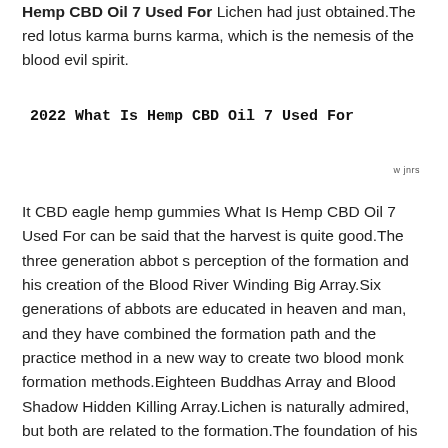Hemp CBD Oil 7 Used For Lichen had just obtained.The red lotus karma burns karma, which is the nemesis of the blood evil spirit.
2022 What Is Hemp CBD Oil 7 Used For
It CBD eagle hemp gummies What Is Hemp CBD Oil 7 Used For can be said that the harvest is quite good.The three generation abbot s perception of the formation and his creation of the Blood River Winding Big Array.Six generations of abbots are educated in heaven and man, and they have combined the formation path and the practice method in a new way to create two blood monk formation methods.Eighteen Buddhas Array and Blood Shadow Hidden Killing Array.Lichen is naturally admired, but both are related to the formation.The foundation of his own formation hemp gummies for sale is still shallow, so he can only record them all first.After coming out, count the abbots of all dynasties.Except for the seventh generation of the obscure abbot, who had not built a